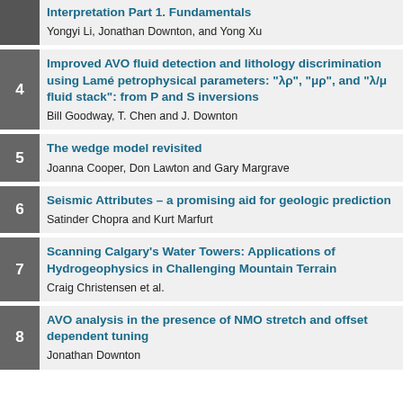Interpretation Part 1. Fundamentals — Yongyi Li, Jonathan Downton, and Yong Xu
4 — Improved AVO fluid detection and lithology discrimination using Lamé petrophysical parameters: "λρ", "μρ", and "λ/μ fluid stack": from P and S inversions — Bill Goodway, T. Chen and J. Downton
5 — The wedge model revisited — Joanna Cooper, Don Lawton and Gary Margrave
6 — Seismic Attributes – a promising aid for geologic prediction — Satinder Chopra and Kurt Marfurt
7 — Scanning Calgary's Water Towers: Applications of Hydrogeophysics in Challenging Mountain Terrain — Craig Christensen et al.
8 — AVO analysis in the presence of NMO stretch and offset dependent tuning — Jonathan Downton